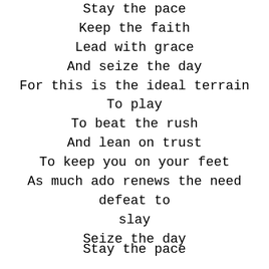Stay the pace
Keep the faith
Lead with grace
And seize the day
For this is the ideal terrain
To play
To beat the rush
And lean on trust
To keep you on your feet
As much ado renews the need defeat to slay
Seize the day
Stay the pace